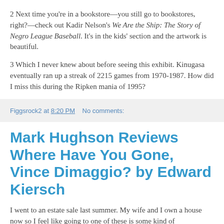2 Next time you're in a bookstore—you still go to bookstores, right?—check out Kadir Nelson's We Are the Ship: The Story of Negro League Baseball. It's in the kids' section and the artwork is beautiful.
3 Which I never knew about before seeing this exhibit. Kinugasa eventually ran up a streak of 2215 games from 1970-1987. How did I miss this during the Ripken mania of 1995?
Figgsrock2 at 8:20 PM   No comments:
Mark Hughson Reviews Where Have You Gone, Vince Dimaggio? by Edward Kiersch
I went to an estate sale last summer. My wife and I own a house now so I feel like going to one of these is some kind of